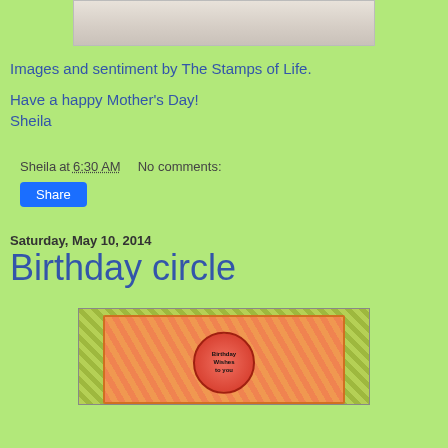[Figure (photo): Top portion of a crafting/stamping photo showing light-colored background, partially cropped]
Images and sentiment by The Stamps of Life.
Have a happy Mother's Day!
Sheila
Sheila at 6:30 AM    No comments:
Share
Saturday, May 10, 2014
Birthday circle
[Figure (photo): Birthday circle card showing a colorful handmade card with honeycomb/hexagon pattern background in orange and pink, with a circle stamp reading 'Birthday Wishes to you' and mountain/triangle shapes]